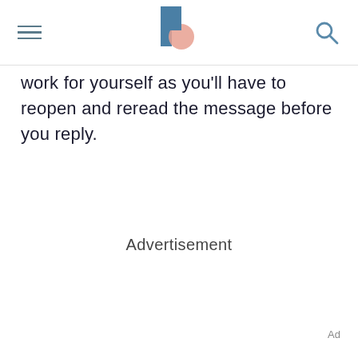[hamburger menu icon] [logo] [search icon]
work for yourself as you'll have to reopen and reread the message before you reply.
Advertisement
Ad